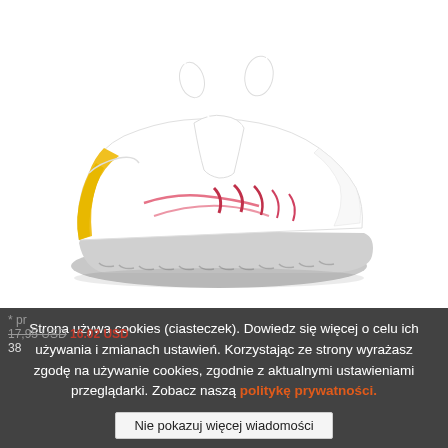[Figure (photo): White chunky sneaker/trainer with yellow heel accent, pink stripe details, white laces, on thick white rubber sole. Photographed on white background at a side angle.]
Strona używa cookies (ciasteczek). Dowiedz się więcej o celu ich używania i zmianach ustawień. Korzystając ze strony wyrażasz zgodę na używanie cookies, zgodnie z aktualnymi ustawieniami przeglądarki. Zobacz naszą politykę prywatności.
Nie pokazuj więcej wiadomości